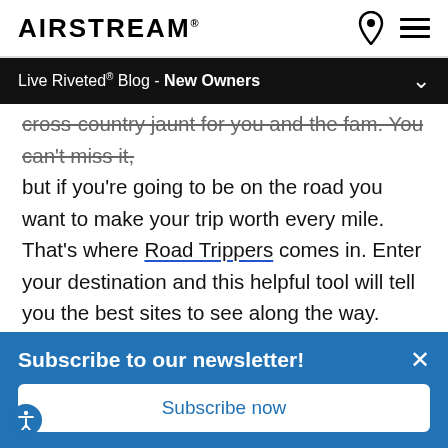AIRSTREAM
Live Riveted® Blog - New Owners
cross-country jaunt for you and the fam. You can't miss it, but if you're going to be on the road you want to make your trip worth every mile. That's where Road Trippers comes in. Enter your destination and this helpful tool will tell you the best sites to see along the way. You'll not only relive your childhood memories of fishing with Uncle Jim at the reunion, but you'll make new memories along the way. Along with several other useful tools, Airstream Care
Subscribe to our newsletter!
Subscribe now